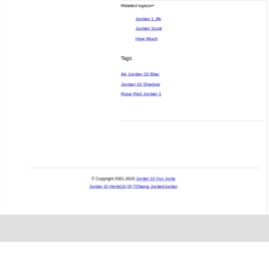Related topics↵
Jordan 1 Jfk…
Jordan Scott…
How Much…
Tags:
Air Jordan 10 Blac…
Jordan 10 Shadow…
Rose Red Jordan 1…
© Copyright 2001-2020 Jordan 10 Ovo Jorda… Jordan 10 Verde|10 Of 73Tawny Jordan|Jordan…